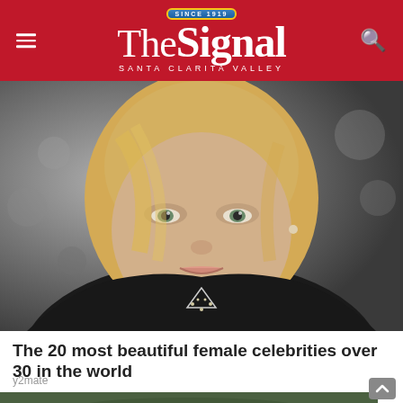The Signal — Santa Clarita Valley
[Figure (photo): Black and white portrait photo of a blonde female celebrity wearing a black outfit with a decorative necklace, looking at the camera with a slight smile]
The 20 most beautiful female celebrities over 30 in the world
y2mate
[Figure (photo): Partial view of another photo at the bottom of the page showing a person outdoors]